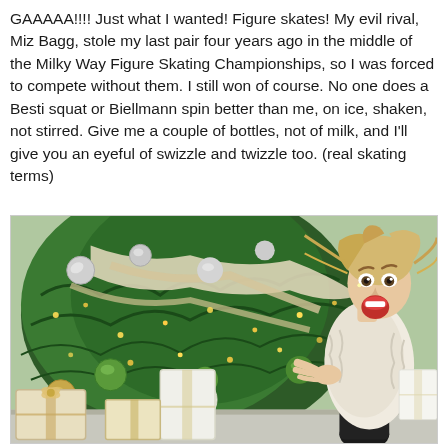GAAAAA!!!! Just what I wanted! Figure skates! My evil rival, Miz Bagg, stole my last pair four years ago in the middle of the Milky Way Figure Skating Championships, so I was forced to compete without them. I still won of course. No one does a Besti squat or Biellmann spin better than me, on ice, shaken, not stirred. Give me a couple of bottles, not of milk, and I'll give you an eyeful of swizzle and twizzle too. (real skating terms)
[Figure (photo): A woman with messy blonde hair wearing a cream/white fur coat, sitting in front of a decorated Christmas tree with silver and green ornaments, ribbon, and warm lights. She has an expressive open-mouth surprised face. Wrapped gifts in cream/gold packaging are in the foreground.]